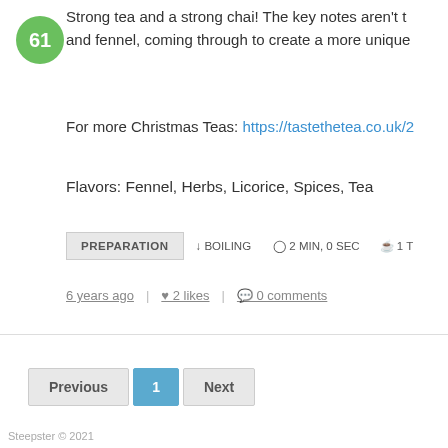[Figure (other): Green circular badge with number 61]
Strong tea and a strong chai! The key notes aren't t... and fennel, coming through to create a more unique...
For more Christmas Teas: https://tastethetea.co.uk/2...
Flavors: Fennel, Herbs, Licorice, Spices, Tea
PREPARATION  ↓ BOILING  ⊙ 2 MIN, 0 SEC  ☕ 1 T...
6 years ago  ♥ 2 likes  💬 0 comments
Previous  1  Next
Steepster © 2021